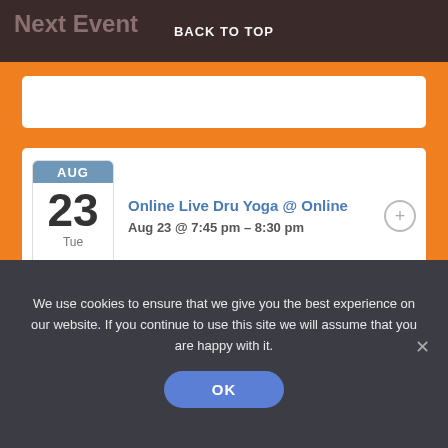BACK TO TOP
Next Event
[Figure (screenshot): White search input box]
Online Live Dru Yoga @ Online
Aug 23 @ 7:45 pm – 8:30 pm
Privacy Policy
Click here to view Active-Eat's Privacy Policy
We use cookies to ensure that we give you the best experience on our website. If you continue to use this site we will assume that you are happy with it.